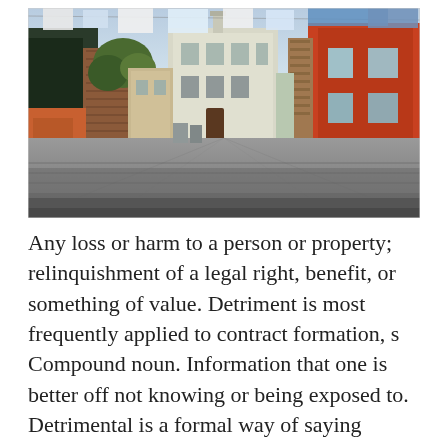[Figure (photo): A cobblestone courtyard or alleyway in what appears to be Venice or a similar Italian city. Buildings with terracotta and pastel facades line both sides. Laundry hangs on lines strung between buildings at the top. The perspective draws the eye toward a white building at the end of the lane.]
Any loss or harm to a person or property; relinquishment of a legal right, benefit, or something of value. Detriment is most frequently applied to contract formation, s Compound noun. Information that one is better off not knowing or being exposed to. Detrimental is a formal way of saying "harmful." Anything detrimental hurts, hinders, or puts a damper on something. Detrimental things do